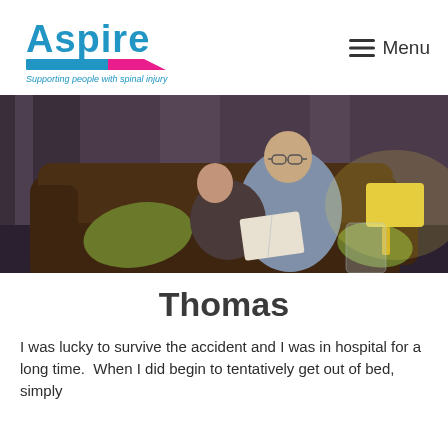[Figure (logo): Aspire logo — blue text 'Aspire' with blue and pink/magenta diagonal bar beneath, tagline 'Supporting people with spinal injury' in blue italic]
Menu
[Figure (photo): A man and child sitting together on a sofa reading a book in a dimly lit room, with curtains in background and a yellow lamp on the right]
Thomas
I was lucky to survive the accident and I was in hospital for a long time.  When I did begin to tentatively get out of bed, simply